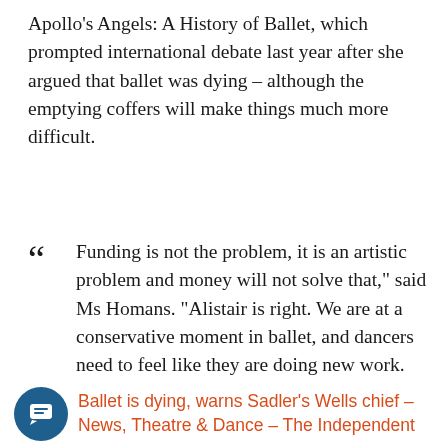Apollo's Angels: A History of Ballet, which prompted international debate last year after she argued that ballet was dying – although the emptying coffers will make things much more difficult.
"Funding is not the problem, it is an artistic problem and money will not solve that," said Ms Homans. "Alistair is right. We are at a conservative moment in ballet, and dancers need to feel like they are doing new work. Unfortunately, for the most part, the new work is not living up to the old work. The crisis in ballet is not a British crisis, it is a general crisis."
Ballet is dying, warns Sadler's Wells chief – News, Theatre & Dance – The Independent